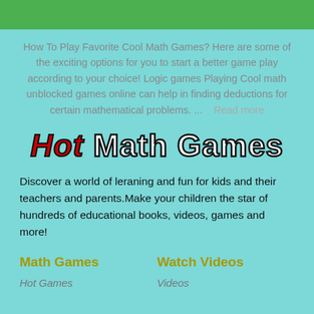[Figure (other): Green header bar at top of page]
How To Play Favorite Cool Math Games? Here are some of the exciting options for you to start a better game play according to your choice! Logic games Playing Cool math unblocked games online can help in finding deductions for certain mathematical problems. ...    Read more
Hot Math Games
Discover a world of leraning and fun for kids and their teachers and parents.Make your children the star of hundreds of educational books, videos, games and more!
Math Games
Watch Videos
Hot Games
Videos